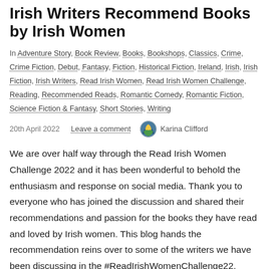Irish Writers Recommend Books by Irish Women
In Adventure Story, Book Review, Books, Bookshops, Classics, Crime, Crime Fiction, Debut, Fantasy, Fiction, Historical Fiction, Ireland, Irish, Irish Fiction, Irish Writers, Read Irish Women, Read Irish Women Challenge, Reading, Recommended Reads, Romantic Comedy, Romantic Fiction, Science Fiction & Fantasy, Short Stories, Writing
20th April 2022   Leave a comment   Karina Clifford
We are over half way through the Read Irish Women Challenge 2022 and it has been wonderful to behold the enthusiasm and response on social media. Thank you to everyone who has joined the discussion and shared their recommendations and passion for the books they have read and loved by Irish women. This blog hands the recommendation reins over to some of the writers we have been discussing in the #ReadIrishWomenChallenge22. Read on to discover the books chosen by Sinéad …